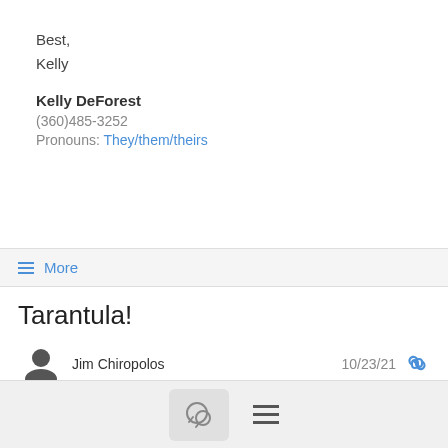Best,
Kelly
Kelly DeForest
(360)485-3252
Pronouns: They/them/theirs
≡ More
Tarantula!
Jim Chiropolos  10/23/21
I biked Mines Road today - and the highlight was a tarantula